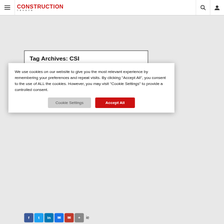Construction Canada
Tag Archives: CSI
CSC and CSI renew
We use cookies on our website to give you the most relevant experience by remembering your preferences and repeat visits. By clicking “Accept All”, you consent to the use of ALL the cookies. However, you may visit “Cookie Settings” to provide a controlled consent.
Cookie Settings | Accept All